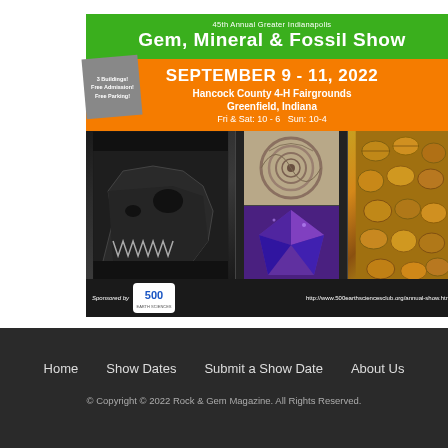[Figure (infographic): 45th Annual Greater Indianapolis Gem, Mineral & Fossil Show promotional flyer. Green header with show title, orange bar with date September 9-11 2022 at Hancock County 4-H Fairgrounds Greenfield Indiana, three photos of fossils and minerals, dark sponsor bar with 500 Earth Sciences logo and website URL.]
Home   Show Dates   Submit a Show Date   About Us
© Copyright © 2022 Rock & Gem Magazine. All Rights Reserved.